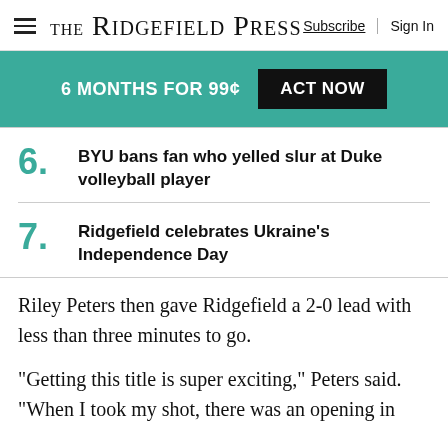The Ridgefield Press | Subscribe | Sign In
6 MONTHS FOR 99¢ ACT NOW
6. BYU bans fan who yelled slur at Duke volleyball player
7. Ridgefield celebrates Ukraine's Independence Day
Riley Peters then gave Ridgefield a 2-0 lead with less than three minutes to go.
“Getting this title is super exciting,” Peters said. “When I took my shot, there was an opening in